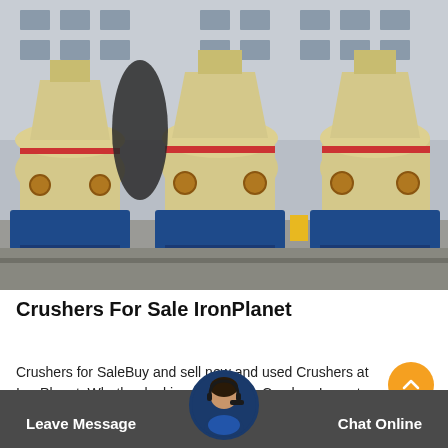[Figure (photo): Industrial cone crushers (cream/beige colored) lined up in a factory yard with a building in the background. Multiple large crushing machines on blue bases.]
Crushers For Sale IronPlanet
Crushers for SaleBuy and sell new and used Crushers at IronPlanet. Whether looking for a Cone Crusher, Impact Crusher, Jaw Crusher or other various type IronPlanet offers